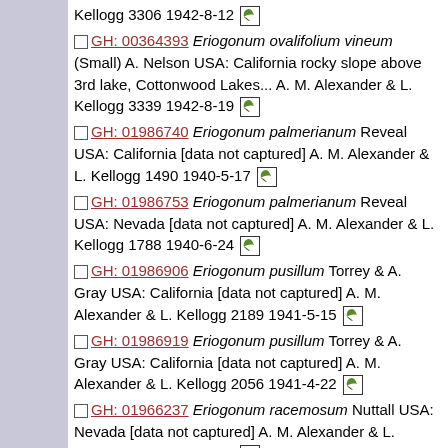Kellogg 3306 1942-8-12 [leaf icon]
GH: 00364393 Eriogonum ovalifolium vineum (Small) A. Nelson USA: California rocky slope above 3rd lake, Cottonwood Lakes... A. M. Alexander & L. Kellogg 3339 1942-8-19 [leaf icon]
GH: 01986740 Eriogonum palmerianum Reveal USA: California [data not captured] A. M. Alexander & L. Kellogg 1490 1940-5-17 [leaf icon]
GH: 01986753 Eriogonum palmerianum Reveal USA: Nevada [data not captured] A. M. Alexander & L. Kellogg 1788 1940-6-24 [leaf icon]
GH: 01986906 Eriogonum pusillum Torrey & A. Gray USA: California [data not captured] A. M. Alexander & L. Kellogg 2189 1941-5-15 [leaf icon]
GH: 01986919 Eriogonum pusillum Torrey & A. Gray USA: California [data not captured] A. M. Alexander & L. Kellogg 2056 1941-4-22 [leaf icon]
GH: 01966237 Eriogonum racemosum Nuttall USA: Nevada [data not captured] A. M. Alexander & L. Kellogg 1789 1940-6-24 [leaf icon]